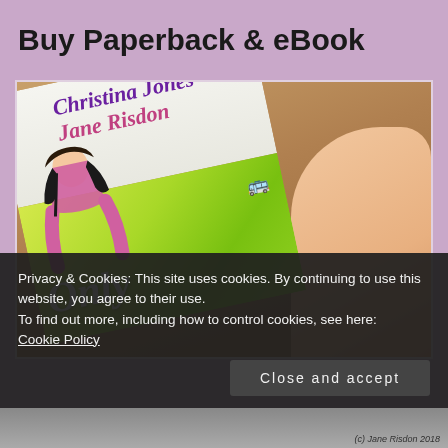Buy Paperback & eBook
[Figure (photo): A hand holding a paperback book with cover showing 'Christina Jones Jane Risdon Only O...' against a wooden floor background. The book cover has a green gradient with a cartoon girl illustration, yellow bus, and author names in purple/pink italic text.]
Privacy & Cookies: This site uses cookies. By continuing to use this website, you agree to their use.
To find out more, including how to control cookies, see here:
Cookie Policy
Close and accept
(c) Jane Risdon 2018